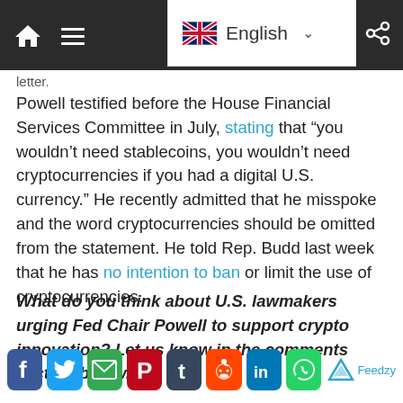Navigation bar with home, menu icons and English language selector
letter.
Powell testified before the House Financial Services Committee in July, stating that “you wouldn’t need stablecoins, you wouldn’t need cryptocurrencies if you had a digital U.S. currency.” He recently admitted that he misspoke and the word cryptocurrencies should be omitted from the statement. He told Rep. Budd last week that he has no intention to ban or limit the use of cryptocurrencies.
What do you think about U.S. lawmakers urging Fed Chair Powell to support crypto innovation? Let us know in the comments section below.
[Figure (other): Social share buttons: Facebook, Twitter, Email, Pinterest, Tumblr, Reddit, LinkedIn, WhatsApp, and Feedzy credit]